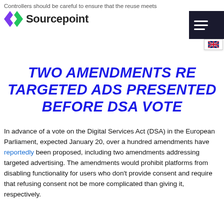Controllers should be careful to ensure that the reuse meets
[Figure (logo): Sourcepoint logo with arrow/chevron icon and bold text 'Sourcepoint']
[Figure (screenshot): Navigation hamburger menu icon (dark background with three white lines) and UK flag language selector]
TWO AMENDMENTS RE TARGETED ADS PRESENTED BEFORE DSA VOTE
In advance of a vote on the Digital Services Act (DSA) in the European Parliament, expected January 20, over a hundred amendments have reportedly been proposed, including two amendments addressing targeted advertising. The amendments would prohibit platforms from disabling functionality for users who don't provide consent and require that refusing consent not be more complicated than giving it, respectively.